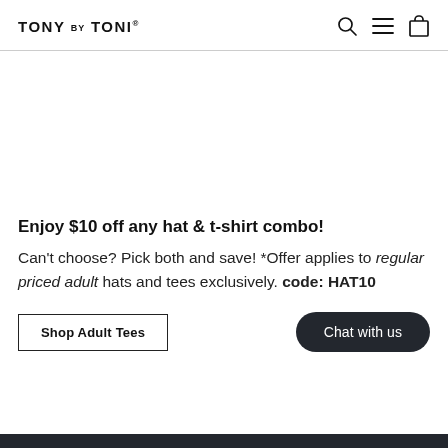TONY BY TONI®
Enjoy $10 off any hat & t-shirt combo!
Can't choose? Pick both and save! *Offer applies to regular priced adult hats and tees exclusively. code: HAT10
Shop Adult Tees
Chat with us